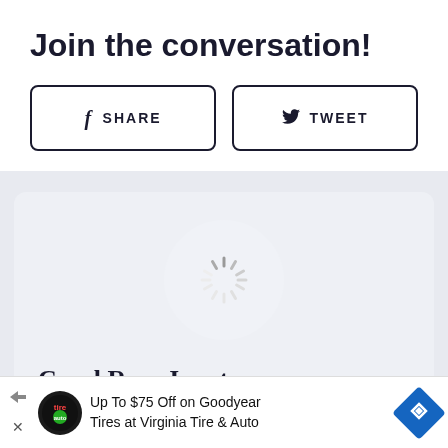Join the conversation!
[Figure (other): Facebook Share button with 'f' icon and text SHARE]
[Figure (other): Twitter Tweet button with bird icon and text TWEET]
[Figure (other): Author card with loading spinner circle]
Carol Ross Joynt
[Figure (other): Advertisement banner: Up To $75 Off on Goodyear Tires at Virginia Tire & Auto]